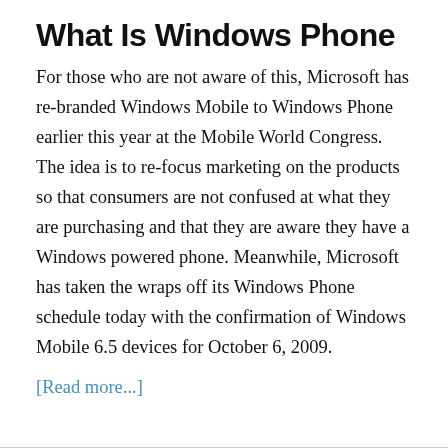What Is Windows Phone
For those who are not aware of this, Microsoft has re-branded Windows Mobile to Windows Phone earlier this year at the Mobile World Congress. The idea is to re-focus marketing on the products so that consumers are not confused at what they are purchasing and that they are aware they have a Windows powered phone. Meanwhile, Microsoft has taken the wraps off its Windows Phone schedule today with the confirmation of Windows Mobile 6.5 devices for October 6, 2009.
[Read more...]